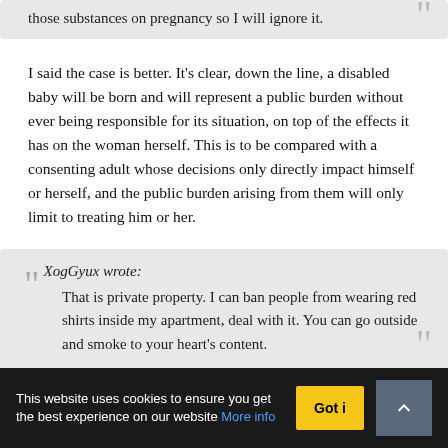those substances on pregnancy so I will ignore it.
I said the case is better. It's clear, down the line, a disabled baby will be born and will represent a public burden without ever being responsible for its situation, on top of the effects it has on the woman herself. This is to be compared with a consenting adult whose decisions only directly impact himself or herself, and the public burden arising from them will only limit to treating him or her.
XogGyux wrote: That is private property. I can ban people from wearing red shirts inside my apartment, deal with it. You can go outside and smoke to your heart's content.
This website uses cookies to ensure you get the best experience on our website More info